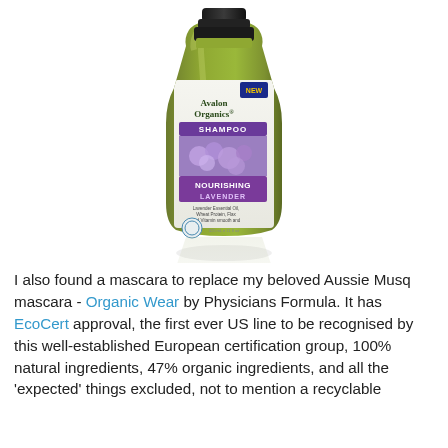[Figure (photo): A green bottle of Avalon Organics Nourishing Lavender Shampoo with a black cap, featuring a purple label with lavender flowers. The bottle is reflected below on a white surface.]
I also found a mascara to replace my beloved Aussie Musq mascara - Organic Wear by Physicians Formula. It has EcoCert approval, the first ever US line to be recognised by this well-established European certification group, 100% natural ingredients, 47% organic ingredients, and all the 'expected' things excluded, not to mention a recyclable